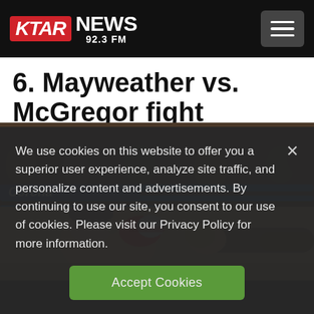KTAR NEWS 92.3 FM
6. Mayweather vs. McGregor fight
[Figure (photo): Boxing match photo showing two fighters in a ring with blue ropes, one fighter punching the other, Corona sponsor banner visible]
We use cookies on this website to offer you a superior user experience, analyze site traffic, and personalize content and advertisements. By continuing to use our site, you consent to our use of cookies. Please visit our Privacy Policy for more information.
Accept Cookies